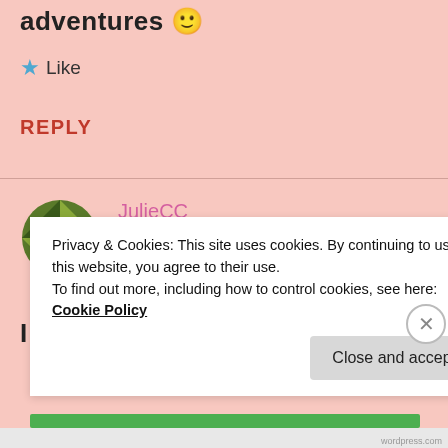adventures 🙂
★ Like
REPLY
[Figure (illustration): Green geometric/quilt-pattern circular avatar icon]
JulieCC
OCTOBER 17, 2013 AT 2:06 PM
I joined this b…
Privacy & Cookies: This site uses cookies. By continuing to use this website, you agree to their use.
To find out more, including how to control cookies, see here:
Cookie Policy
Close and accept